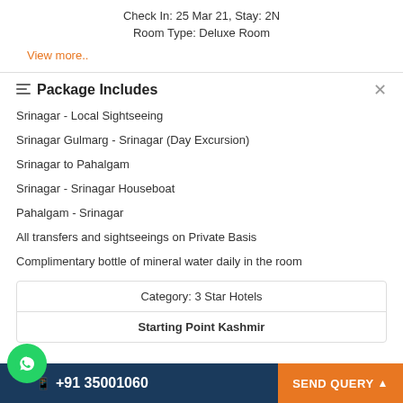Check In: 25 Mar 21, Stay: 2N
Room Type: Deluxe Room
View more..
Package Includes
Srinagar - Local Sightseeing
Srinagar Gulmarg - Srinagar (Day Excursion)
Srinagar to Pahalgam
Srinagar - Srinagar Houseboat
Pahalgam - Srinagar
All transfers and sightseeings on Private Basis
Complimentary bottle of mineral water daily in the room
| Category: 3 Star Hotels |
| Starting Point Kashmir |
+91 35001060  SEND QUERY